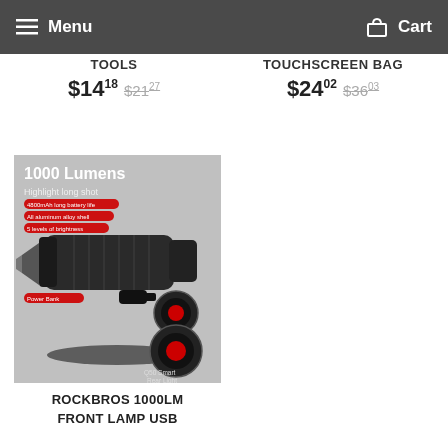Menu   Cart
TOOLS
TOUCHSCREEN BAG
$14.18  $21.27
$24.02  $36.03
[Figure (photo): ROCKBROS 1000 Lumens bike front lamp USB product image showing the bike light with Q50 Smart Rear Light inset, features listed: 4800mAh long battery life, All aluminum alloy shell, 5 levels of brightness, Power Bank]
ROCKBROS 1000LM FRONT LAMP USB